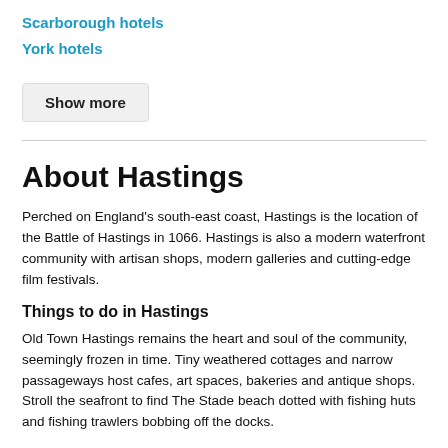Scarborough hotels
York hotels
Show more
About Hastings
Perched on England's south-east coast, Hastings is the location of the Battle of Hastings in 1066. Hastings is also a modern waterfront community with artisan shops, modern galleries and cutting-edge film festivals.
Things to do in Hastings
Old Town Hastings remains the heart and soul of the community, seemingly frozen in time. Tiny weathered cottages and narrow passageways host cafes, art spaces, bakeries and antique shops. Stroll the seafront to find The Stade beach dotted with fishing huts and fishing trawlers bobbing off the docks.